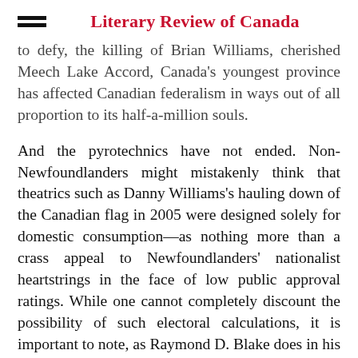Literary Review of Canada
to defy, the killing of Brian Williams, cherished Meech Lake Accord, Canada's youngest province has affected Canadian federalism in ways out of all proportion to its half-a-million souls.
And the pyrotechnics have not ended. Non-Newfoundlanders might mistakenly think that theatrics such as Danny Williams's hauling down of the Canadian flag in 2005 were designed solely for domestic consumption—as nothing more than a crass appeal to Newfoundlanders' nationalist heartstrings in the face of low public approval ratings. While one cannot completely discount the possibility of such electoral calculations, it is important to note, as Raymond D. Blake does in his newest book, Lions or Jellyfish: Newfoundland-Ottawa Relations Since 1957, that underneath it all has been